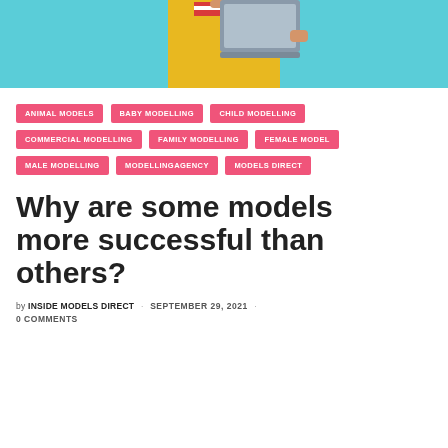[Figure (photo): Person in yellow jacket holding a laptop, standing against a teal/blue background. Only upper body and bottom portion visible.]
ANIMAL MODELS
BABY MODELLING
CHILD MODELLING
COMMERCIAL MODELLING
FAMILY MODELLING
FEMALE MODEL
MALE MODELLING
MODELLINGAGENCY
MODELS DIRECT
Why are some models more successful than others?
by INSIDE MODELS DIRECT · SEPTEMBER 29, 2021 · 0 COMMENTS